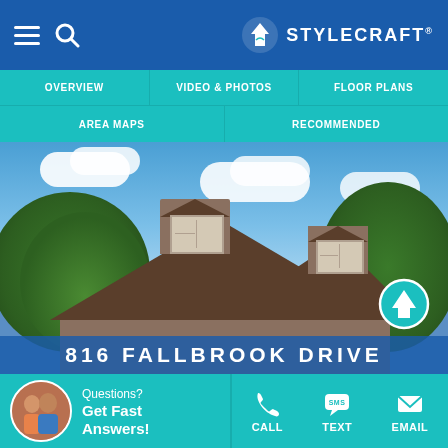StyleCraft Homes — navigation header with hamburger menu, search, and logo
[Figure (screenshot): Navigation menu bar with teal background showing: OVERVIEW, VIDEO & PHOTOS, FLOOR PLANS, AREA MAPS, RECOMMENDED]
[Figure (photo): Exterior photo of a craftsman-style home with brown roof, dormer windows, lush green trees, and a blue sky with clouds. Text overlay at bottom reads: 816 FALLBROOK DRIVE. Scroll-up button (teal circle with up arrow) in bottom right.]
Questions? Get Fast Answers!
CALL   TEXT   EMAIL